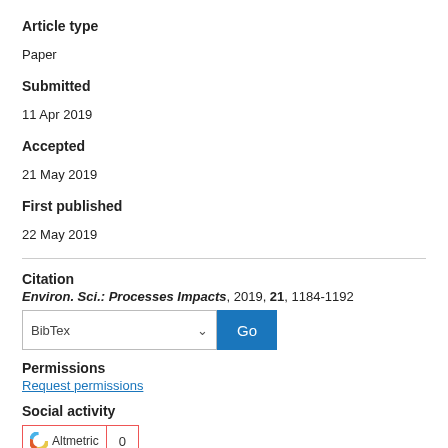Article type
Paper
Submitted
11 Apr 2019
Accepted
21 May 2019
First published
22 May 2019
Citation
Environ. Sci.: Processes Impacts, 2019, 21, 1184-1192
Permissions
Request permissions
Social activity